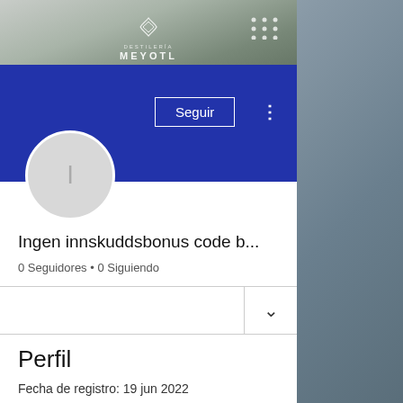[Figure (screenshot): Screenshot of a social media profile page for 'Ingen innskuddsbonus code b...' showing Meyotl distillery logo at top, a blue banner, profile avatar with letter I, Seguir (Follow) button, follower/following counts, and profile section with registration date.]
Ingen innskuddsbonus code b...
0 Seguidores • 0 Siguiendo
Perfil
Fecha de registro: 19 jun 2022